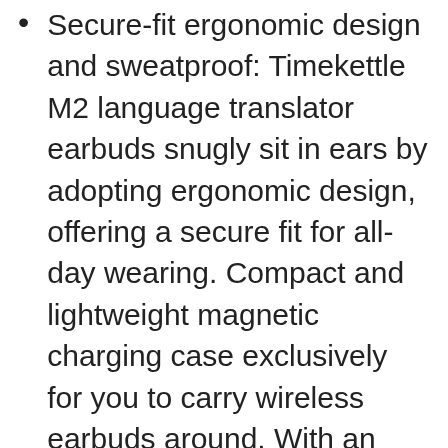Secure-fit ergonomic design and sweatproof: Timekettle M2 language translator earbuds snugly sit in ears by adopting ergonomic design, offering a secure fit for all-day wearing. Compact and lightweight magnetic charging case exclusively for you to carry wireless earbuds around. With an IPX4 sweat- and water-resistant rating, splashes, and sweat do not stop M2 portable voice translator. Just focus on your music, phone calls, and conversations. Get ready for any adventures